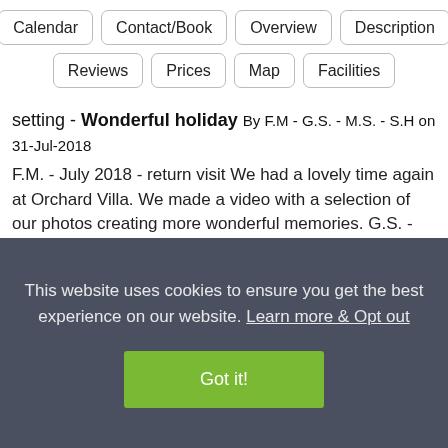Calendar | Contact/Book | Overview | Description | Reviews | Prices | Map | Facilities
setting - Wonderful holiday By F.M - G.S. - M.S. - S.H on 31-Jul-2018
F.M. - July 2018 - return visit We had a lovely time again at Orchard Villa. We made a video with a selection of our photos creating more wonderful memories. G.S. - July...
read more
★★★★★
This website uses cookies to ensure you get the best experience on our website. Learn more & Opt out
Got it!